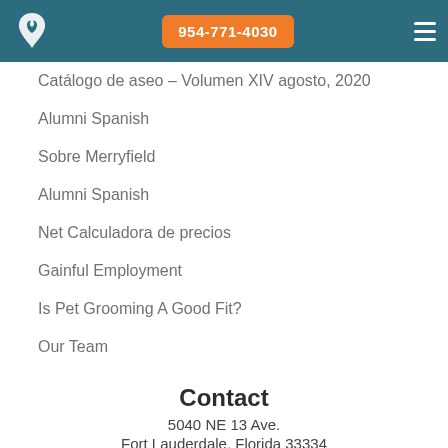954-771-4030
Catálogo de aseo – Volumen XIV agosto, 2020
Alumni Spanish
Sobre Merryfield
Alumni Spanish
Net Calculadora de precios
Gainful Employment
Is Pet Grooming A Good Fit?
Our Team
Contact
5040 NE 13 Ave.
Fort Lauderdale, Florida 33334